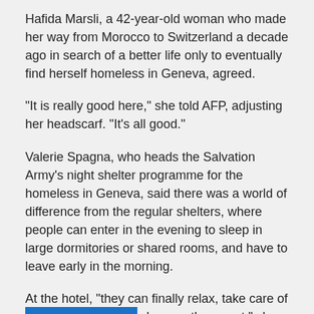Hafida Marsli, a 42-year-old woman who made her way from Morocco to Switzerland a decade ago in search of a better life only to eventually find herself homeless in Geneva, agreed.
"It is really good here," she told AFP, adjusting her headscarf. "It's all good."
Valerie Spagna, who heads the Salvation Army's night shelter programme for the homeless in Geneva, said there was a world of difference from the regular shelters, where people can enter in the evening to sleep in large dormitories or shared rooms, and have to leave early in the morning.
At the hotel, "they can finally relax, take care of themselves, sleep as long as they want," she told AFP. "They have finally gotten a small taste of a [life."]